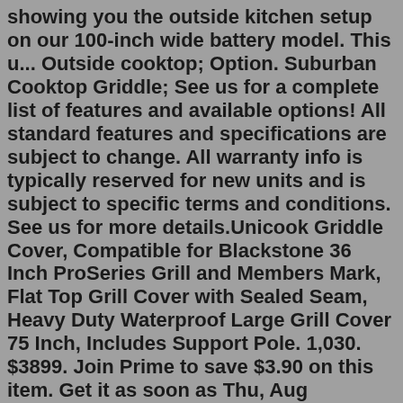showing you the outside kitchen setup on our 100-inch wide battery model. This u... Outside cooktop; Option. Suburban Cooktop Griddle; See us for a complete list of features and available options! All standard features and specifications are subject to change. All warranty info is typically reserved for new units and is subject to specific terms and conditions. See us for more details.Unicook Griddle Cover, Compatible for Blackstone 36 Inch ProSeries Grill and Members Mark, Flat Top Grill Cover with Sealed Seam, Heavy Duty Waterproof Large Grill Cover 75 Inch, Includes Support Pole. 1,030. $3899. Join Prime to save $3.90 on this item. Get it as soon as Thu, Aug 18.Greystone 17 Inch Griddle, LP Gas. $138.80. Pay in 4 interest-free installments of $34.70 with. Learn more. Sold out. Greystone Pizza Oven Attachment for 17" Combination Griddle. $179.90. Pay in 4 interest-free installments of $44.97 with. 30" Gas Cooktop, GASLAND Chef PRO GH3305SF 5 Burner Gas Stovetop with Reversible Cast Iron